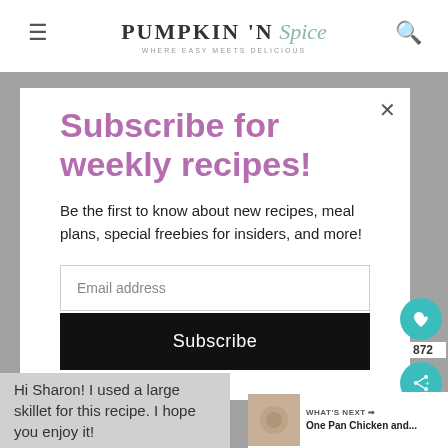PUMPKIN 'N Spice — WHERE EASY MEETS DELICIOUS
Subscribe for weekly recipes!
Be the first to know about new recipes, meal plans, special freebies for insiders, and more!
Email address
Subscribe
872
WHAT'S NEXT → One Pan Chicken and...
Hi Sharon! I used a large skillet for this recipe. I hope you enjoy it!